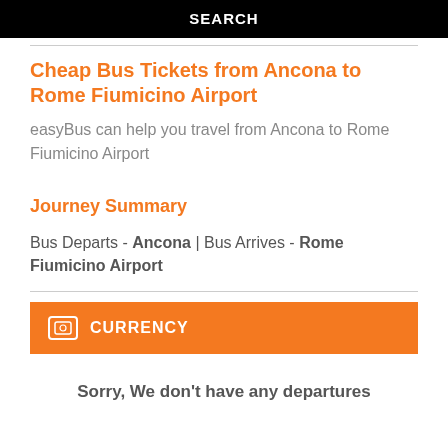SEARCH
Cheap Bus Tickets from Ancona to Rome Fiumicino Airport
easyBus can help you travel from Ancona to Rome Fiumicino Airport
Journey Summary
Bus Departs - Ancona | Bus Arrives - Rome Fiumicino Airport
CURRENCY
Sorry, We don't have any departures